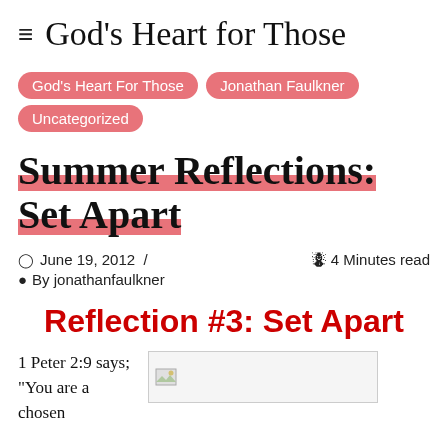≡  God's Heart for Those
God's Heart For Those
Jonathan Faulkner
Uncategorized
Summer Reflections: Set Apart
June 19, 2012 /   4 Minutes read
By jonathanfaulkner
Reflection #3: Set Apart
1 Peter 2:9 says; "You are a chosen
[Figure (photo): Placeholder image thumbnail]